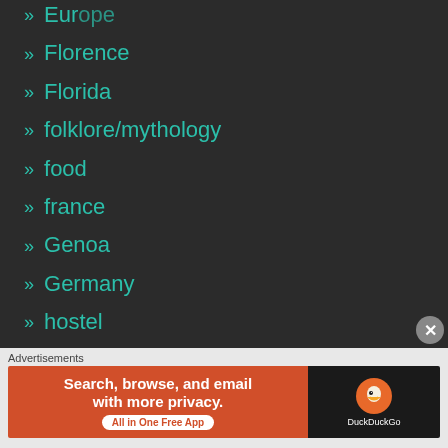» Florence
» Florida
» folklore/mythology
» food
» france
» Genoa
» Germany
» hostel
» How-To
» iceland
» Iguazu falls
[Figure (screenshot): DuckDuckGo advertisement banner: Search, browse, and email with more privacy. All in One Free App.]